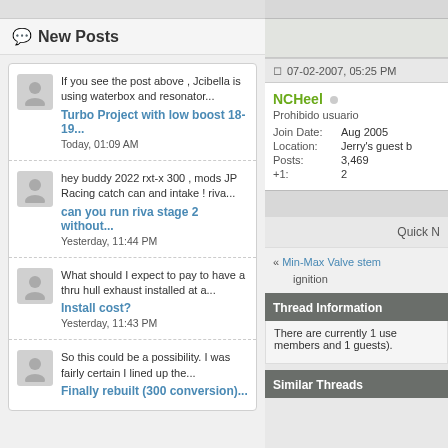New Posts
If you see the post above , Jcibella is using waterbox and resonator...
Turbo Project with low boost 18-19...
Today, 01:09 AM
hey buddy 2022 rxt-x 300 , mods JP Racing catch can and intake ! riva...
can you run riva stage 2 without...
Yesterday, 11:44 PM
What should I expect to pay to have a thru hull exhaust installed at a...
Install cost?
Yesterday, 11:43 PM
So this could be a possibility. I was fairly certain I lined up the...
Finally rebuilt (300 conversion)...
07-02-2007, 05:25 PM
NCHeel
Prohibido usuario
|  |  |
| --- | --- |
| Join Date: | Aug 2005 |
| Location: | Jerry's guest b |
| Posts: | 3,469 |
| +1: | 2 |
Quick N
« Min-Max Valve stem ignition
Thread Information
There are currently 1 use members and 1 guests).
Similar Threads